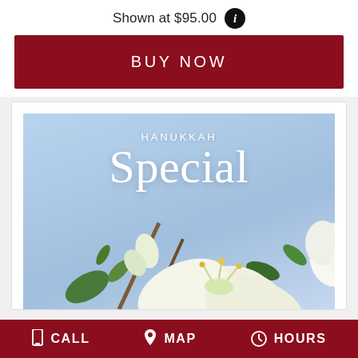Shown at $95.00
BUY NOW
[Figure (photo): Hanukkah Special floral arrangement photo with white lilies on a light blue background, text overlay reading 'HANUKKAH Special']
CALL   MAP   HOURS